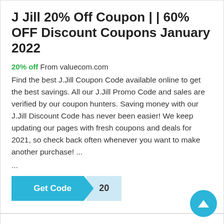J Jill 20% Off Coupon | | 60% OFF Discount Coupons January 2022
20% off From valuecom.com
Find the best J.Jill Coupon Code available online to get the best savings. All our J.Jill Promo Code and sales are verified by our coupon hunters. Saving money with our J.Jill Discount Code has never been easier! We keep updating our pages with fresh coupons and deals for 2021, so check back often whenever you want to make another purchase! ... ...
[Figure (other): Get Code button with code '20' shown on the right side]
60% Off J. Jill Coupons: December 2021 Promo Codes